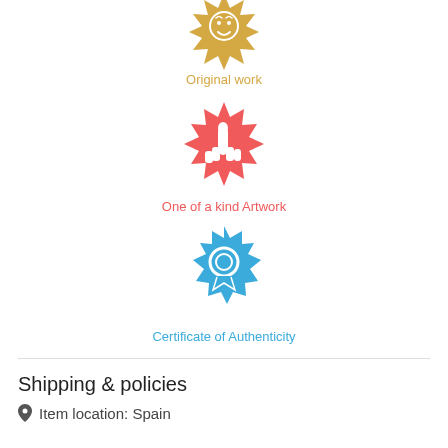[Figure (illustration): Golden badge/seal icon with face design]
Original work
[Figure (illustration): Red badge/seal icon with pointing finger hand]
One of a kind Artwork
[Figure (illustration): Blue badge/seal icon with award ribbon/medal]
Certificate of Authenticity
Shipping & policies
Item location: Spain